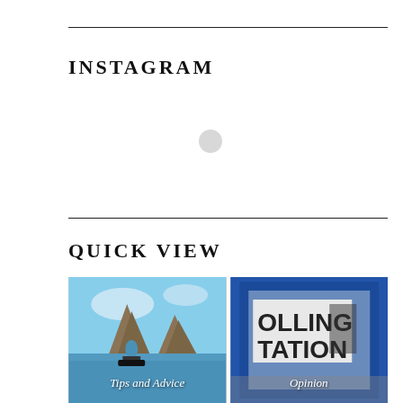INSTAGRAM
[Figure (other): Loading spinner / placeholder circle for Instagram embed]
QUICK VIEW
[Figure (photo): Two large rock formations (Faraglioni) rising from the sea with a boat, blue sky — labeled 'Tips and Advice']
[Figure (photo): Blue polling station door/window with 'OLLING TATION' sign visible through glass — labeled 'Opinion']